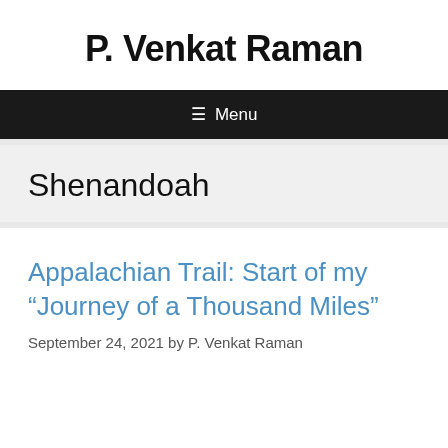P. Venkat Raman
≡ Menu
Shenandoah
Appalachian Trail: Start of my “Journey of a Thousand Miles”
September 24, 2021 by P. Venkat Raman